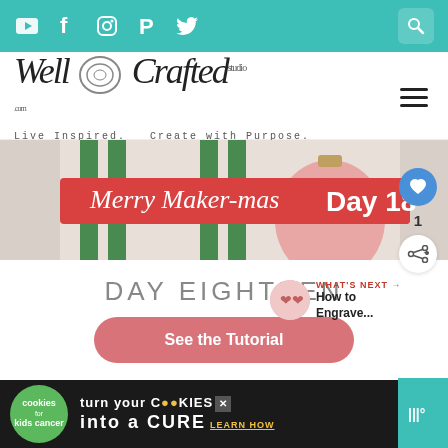Navigation bar with social icons: YouTube, Facebook, Instagram, Pinterest, Twitter, and search
[Figure (logo): Well Crafted Studio logo with tagline: Live Inspired. Create with Purpose.]
[Figure (photo): Merry Maker-mas Day 18 hero image with dish towels and Christmas ornament]
DAY EIGHTEEN
WHAT'S NEXT → How to Engrave...
See the Tutorial
[Figure (infographic): Cookies for Kids Cancer advertisement: turn your cookies into a CURE - LEARN HOW]